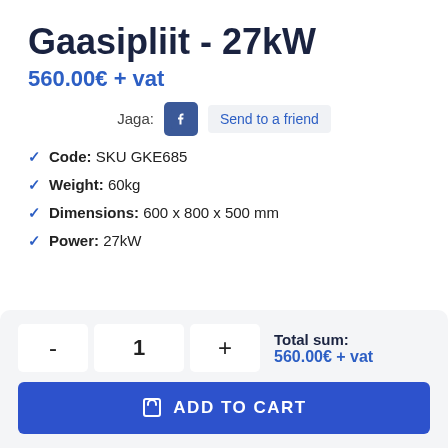Gaasipliit - 27kW
560.00€ + vat
Jaga:  Send to a friend
Code: SKU GKE685
Weight: 60kg
Dimensions: 600 x 800 x 500 mm
Power: 27kW
Total sum: 560.00€ + vat
ADD TO CART